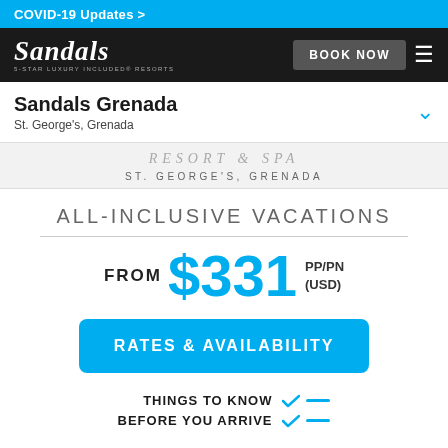COVID-19 Updates >
[Figure (logo): Sandals logo with text '5-STAR LUXURY INCLUDED RESORTS' and BOOK NOW button with hamburger menu]
Sandals Grenada
St. George's, Grenada
RESORT & SPA
ST. GEORGE'S, GRENADA
ALL-INCLUSIVE VACATIONS
FROM $331 PP/PN (USD)
RATES & AVAILABILITY
THINGS TO KNOW BEFORE YOU ARRIVE